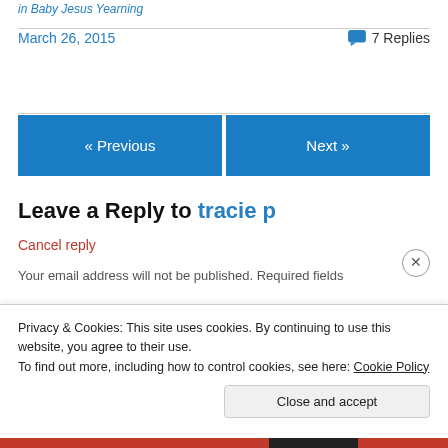in Baby Jesus Yearning
March 26, 2015
7 Replies
« Previous
Next »
Leave a Reply to tracie p
Cancel reply
Your email address will not be published. Required fields
Privacy & Cookies: This site uses cookies. By continuing to use this website, you agree to their use.
To find out more, including how to control cookies, see here: Cookie Policy
Close and accept